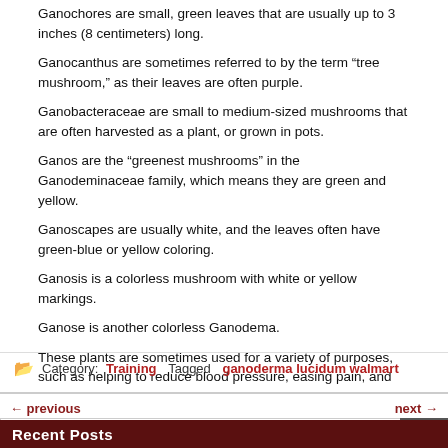Ganochores are small, green leaves that are usually up to 3 inches (8 centimeters) long.
Ganocanthus are sometimes referred to by the term “tree mushroom,” as their leaves are often purple.
Ganobacteraceae are small to medium-sized mushrooms that are often harvested as a plant, or grown in pots.
Ganos are the “greenest mushrooms” in the Ganodeminaceae family, which means they are green and yellow.
Ganoscapes are usually white, and the leaves often have green-blue or yellow coloring.
Ganosis is a colorless mushroom with white or yellow markings.
Ganose is another colorless Ganodema.
These plants are sometimes used for a variety of purposes, such as helping to reduce blood pressure, easing pain, and relieving nausea.
Ganoid is a term for a type (also known as a species
Category: Training Tagged ganoderma lucidum walmart
← previous    next →
Search ...
Recent Posts